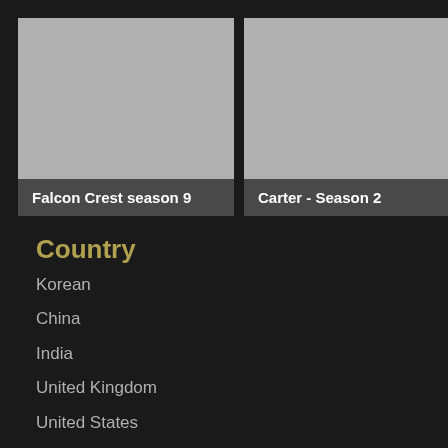[Figure (photo): Thumbnail image card for Falcon Crest season 9 with gray placeholder image and title overlay at bottom]
Falcon Crest season 9
[Figure (photo): Thumbnail image card for Carter - Season 2 with gray placeholder image and title overlay at bottom]
Carter - Season 2
Country
Korean
China
India
United Kingdom
United States
Tags
Dramacool
Kissasian